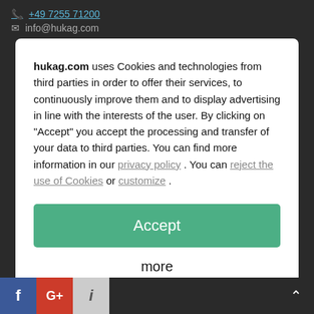+49 7255 71200 | info@hukag.com
hukag.com uses Cookies and technologies from third parties in order to offer their services, to continuously improve them and to display advertising in line with the interests of the user. By clicking on "Accept" you accept the processing and transfer of your data to third parties. You can find more information in our privacy policy . You can reject the use of Cookies or customize .
Accept
more
Imprint | Privacy Policy